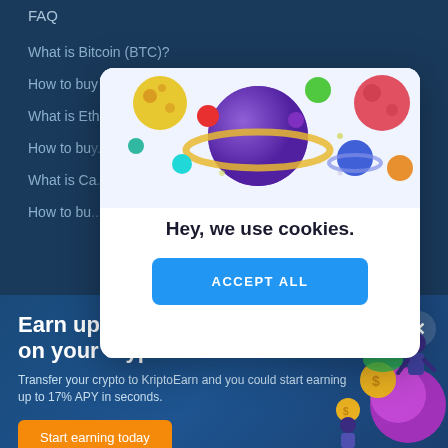FAQ
What is Bitcoin (BTC)?
How to buy Bitcoin?
What is Ethereum (ETH)?
How to bu...
What is Ca...
How to bu...
[Figure (illustration): Cookie consent modal with colorful planets illustration at top, title 'Hey, we use cookies.' and blue ACCEPT ALL button]
Hey, we use cookies.
ACCEPT ALL
Earn up to 17% on your crypto
Transfer your crypto to KriptoEarn and you could start earning up to 17% APY in seconds.
Start earning today
[Figure (illustration): Illustration of people with piggy bank, coins and dollar signs on the right side of the banner]